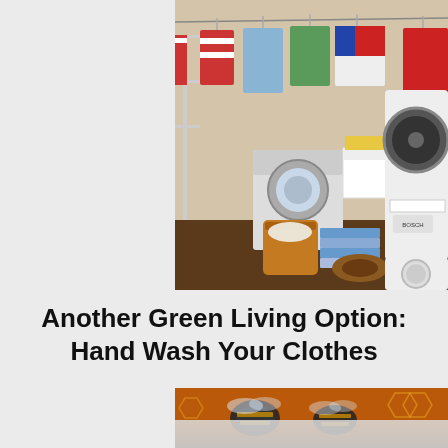[Figure (photo): Laundry room with clothes hanging on a rack and clothesline, washing machines, laundry baskets, and folded towels on the floor]
Another Green Living Option: Hand Wash Your Clothes
[Figure (photo): Close-up photograph of bees on honeycomb]